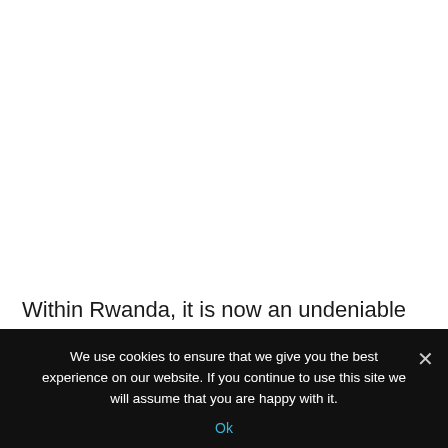Within Rwanda, it is now an undeniable fact that the three ethnic groups of the country are disproportionately represented in key institutions of the country. Hutus and Twa's communities are currently totally excluded from the Rwandan Military high
We use cookies to ensure that we give you the best experience on our website. If you continue to use this site we will assume that you are happy with it.
Ok